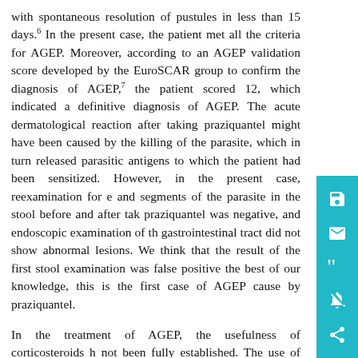with spontaneous resolution of pustules in less than 15 days.6 In the present case, the patient met all the criteria for AGEP. Moreover, according to an AGEP validation score developed by the EuroSCAR group to confirm the diagnosis of AGEP,7 the patient scored 12, which indicated a definitive diagnosis of AGEP. The acute dermatological reaction after taking praziquantel might have been caused by the killing of the parasite, which in turn released parasitic antigens to which the patient had been sensitized. However, in the present case, reexamination for e and segments of the parasite in the stool before and after tak praziquantel was negative, and endoscopic examination of th gastrointestinal tract did not show abnormal lesions. We think that the result of the first stool examination was false positive the best of our knowledge, this is the first case of AGEP cause by praziquantel.
In the treatment of AGEP, the usefulness of corticosteroids h not been fully established. The use of potent topical corticosteroids might be associated with a decreased duration hospitalization.8 However, it is not clear whether systemic corticosteroids are beneficial with regard to the disease